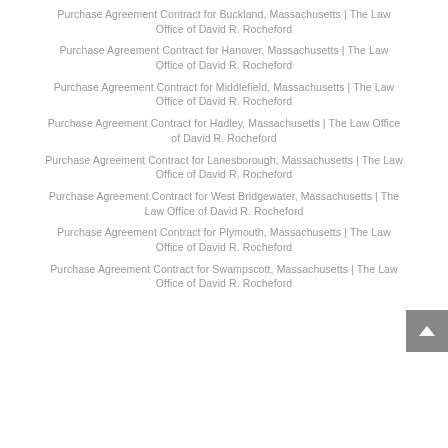Purchase Agreement Contract for Buckland, Massachusetts | The Law Office of David R. Rocheford
Purchase Agreement Contract for Hanover, Massachusetts | The Law Office of David R. Rocheford
Purchase Agreement Contract for Middlefield, Massachusetts | The Law Office of David R. Rocheford
Purchase Agreement Contract for Hadley, Massachusetts | The Law Office of David R. Rocheford
Purchase Agreement Contract for Lanesborough, Massachusetts | The Law Office of David R. Rocheford
Purchase Agreement Contract for West Bridgewater, Massachusetts | The Law Office of David R. Rocheford
Purchase Agreement Contract for Plymouth, Massachusetts | The Law Office of David R. Rocheford
Purchase Agreement Contract for Swampscott, Massachusetts | The Law Office of David R. Rocheford